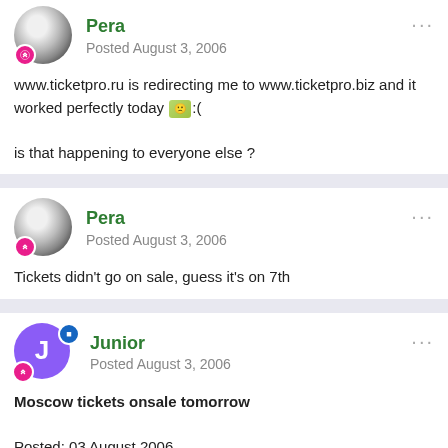Pera
Posted August 3, 2006
www.ticketpro.ru is redirecting me to www.ticketpro.biz and it worked perfectly today :(

is that happening to everyone else ?
Pera
Posted August 3, 2006
Tickets didn't go on sale, guess it's on 7th
Junior
Posted August 3, 2006
Moscow tickets onsale tomorrow

Posted: 03 August 2006